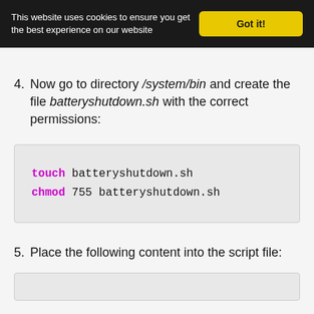This website uses cookies to ensure you get the best experience on our website  Got it!
4. Now go to directory /system/bin and create the file batteryshutdown.sh with the correct permissions:
touch batteryshutdown.sh
chmod 755 batteryshutdown.sh
5. Place the following content into the script file: